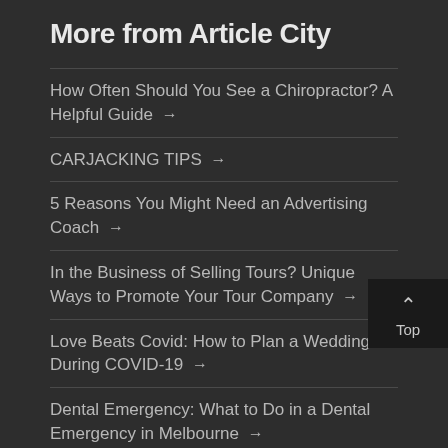More from Article City
How Often Should You See a Chiropractor? A Helpful Guide →
CARJACKING TIPS →
5 Reasons You Might Need an Advertising Coach →
In the Business of Selling Tours? Unique Ways to Promote Your Tour Company →
Love Beats Covid: How to Plan a Wedding During COVID-19 →
Dental Emergency: What to Do in a Dental Emergency in Melbourne →
Locked Out of Your Car? 10 Ways a Car …